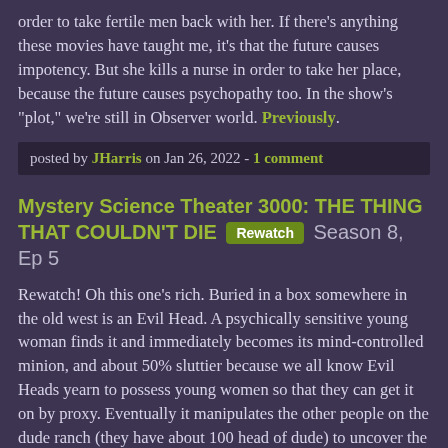order to take fertile men back with her. If there's anything these movies have taught me, it's that the future causes impotency. But she kills a nurse in order to take her place, because the future causes psychopathy too. In the show's "plot," we're still in Observer world. Previously.
posted by JHarris on Jan 26, 2022 - 1 comment
Mystery Science Theater 3000: THE THING THAT COULDN'T DIE [Rewatch] Season 8, Ep 5
Rewatch! Oh this one's rich. Buried in a box somewhere in the old west is an Evil Head. A psychically sensitive young woman finds it and immediately becomes its mind-controlled minion, and about 50% sluttier because we all know Evil Heads yearn to possess young women so that they can get it on by proxy. Eventually it manipulates the other people on the dude ranch (they have about 100 head of dude) to uncover the rest of its body and reunite the two.